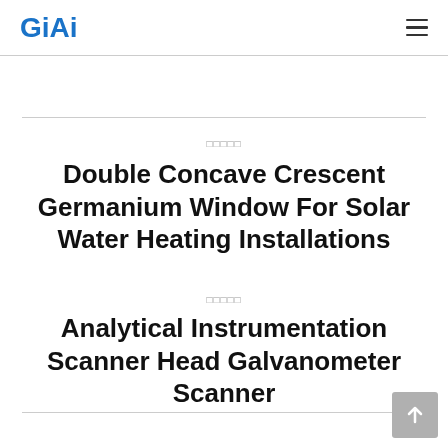GiAi
□□□□□
Double Concave Crescent Germanium Window For Solar Water Heating Installations
□□□□□
Analytical Instrumentation Scanner Head Galvanometer Scanner